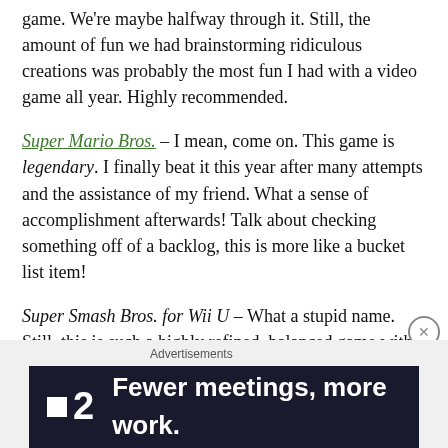game. We're maybe halfway through it. Still, the amount of fun we had brainstorming ridiculous creations was probably the most fun I had with a video game all year. Highly recommended.
Super Mario Bros. – I mean, come on. This game is legendary. I finally beat it this year after many attempts and the assistance of my friend. What a sense of accomplishment afterwards! Talk about checking something off of a backlog, this is more like a bucket list item!
Super Smash Bros. for Wii U – What a stupid name. Still, this is such a highly refined, balanced game with enough content to keep me content for years. Rest assured, I will play this game until its successor comes out and it will be in the mulitplayer
Advertisements
[Figure (other): Advertisement banner with dark background showing the F2 logo (small white square next to number 2) and the tagline 'Fewer meetings, more work.']